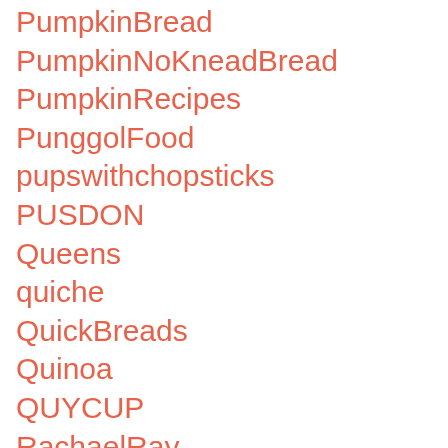PumpkinBread
PumpkinNoKneadBread
PumpkinRecipes
PunggolFood
pupswithchopsticks
PUSDON
Queens
quiche
QuickBreads
Quinoa
QUYCUP
RachaelRay
RachaelRayShow
rack
Rack4be